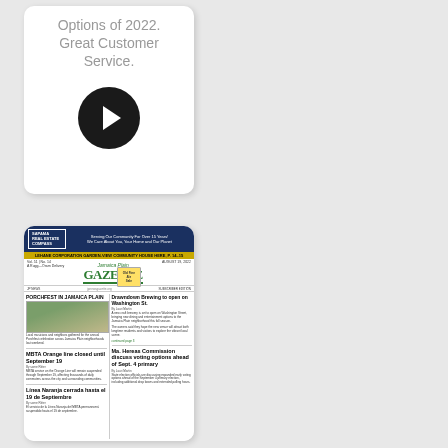[Figure (screenshot): A mobile app card screenshot showing text 'Options of 2022. Great Customer Service.' with a dark circular arrow/play button below it, on a white card background with grey surrounding area.]
[Figure (screenshot): A screenshot of the Jamaica Plain Gazette newspaper front page, showing the masthead in green, a SAPAMA Real Estate Compass advertisement banner at top, headlines including 'Drawndown Brewing to open on Washington St.', 'MBTA Orange line closed until September 19', 'Lima Naranja cerrada hasta el 19 de Septiembre', 'Ma. Hereas Commission discuss voting options ahead of Sept. 4 primary', and a photo of Porchfest in Jamaica Plain.]